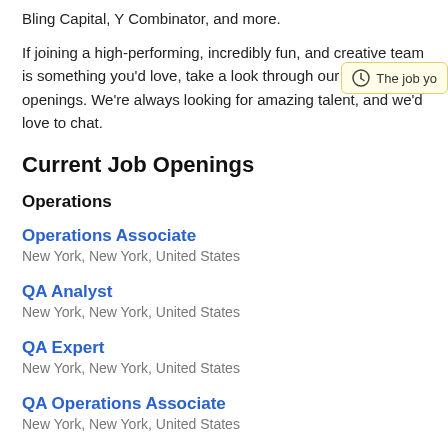Bling Capital, Y Combinator, and more.
If joining a high-performing, incredibly fun, and creative team is something you'd love, take a look through our current openings. We're always looking for amazing talent, and we'd love to chat.
Current Job Openings
Operations
Operations Associate
New York, New York, United States
QA Analyst
New York, New York, United States
QA Expert
New York, New York, United States
QA Operations Associate
New York, New York, United States